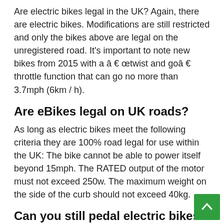Are electric bikes legal in the UK? Again, there are electric bikes. Modifications are still restricted and only the bikes above are legal on the unregistered road. It's important to note new bikes from 2015 with a â € œtwist and goâ € throttle function that can go no more than 3.7mph (6km / h).
Are eBikes legal on UK roads?
As long as electric bikes meet the following criteria they are 100% road legal for use within the UK: The bike cannot be able to power itself beyond 15mph. The RATED output of the motor must not exceed 250w. The maximum weight on the side of the curb should not exceed 40kg.
Can you still pedal electric bikes?
You can. Most ebikes in the market today include pedals that you can use with â € “or separately from"